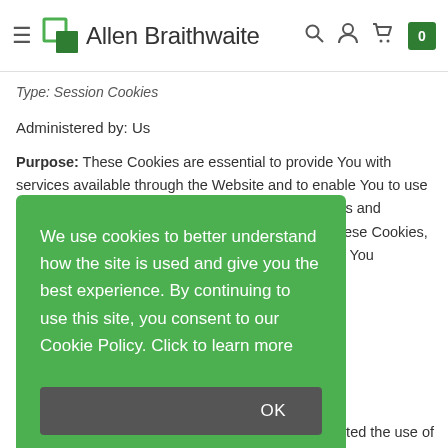Allen Braithwaite
Type: Session Cookies
Administered by: Us
Purpose: These Cookies are essential to provide You with services available through the Website and to enable You to use some of its features. They help to authenticate users and prevent fraudulent use of user accounts. Without these Cookies, the services that You have asked ...okies to provide You
[Figure (screenshot): Cookie consent overlay banner with green background. Text reads: 'We use cookies to better understand how the site is used and give you the best experience. By continuing to use this site, you consent to our Cookie Policy. Click to learn more' with an OK button.]
...oted the use of